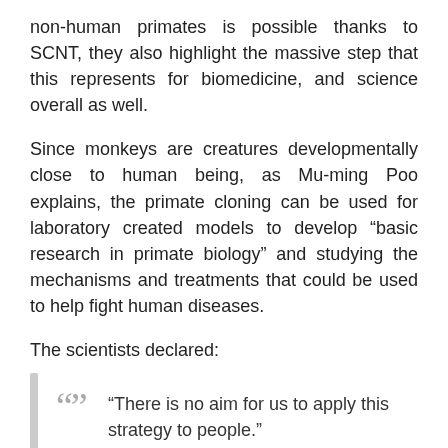non-human primates is possible thanks to SCNT, they also highlight the massive step that this represents for biomedicine, and science overall as well.
Since monkeys are creatures developmentally close to human being, as Mu-ming Poo explains, the primate cloning can be used for laboratory created models to develop “basic research in primate biology” and studying the mechanisms and treatments that could be used to help fight human diseases.
The scientists declared:
“There is no aim for us to apply this strategy to people.”
Source: USA Today